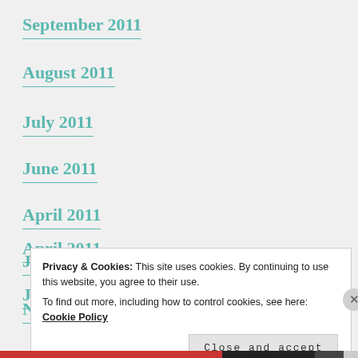September 2011
August 2011
July 2011
June 2011
April 2011
January 2010
November 2009
Privacy & Cookies: This site uses cookies. By continuing to use this website, you agree to their use.
To find out more, including how to control cookies, see here: Cookie Policy
Close and accept